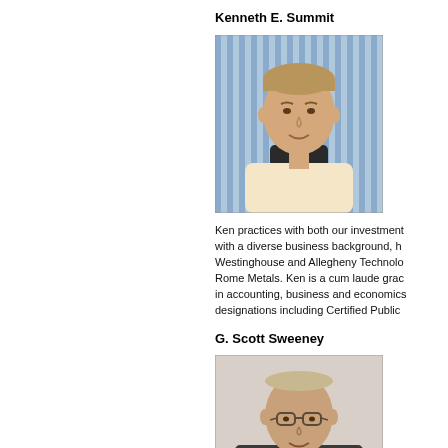Kenneth E. Summit
[Figure (photo): Headshot of Kenneth E. Summit, a middle-aged man with light brown hair, wearing a light-colored shirt, seated in front of a blue striped background.]
Ken practices with both our investment with a diverse business background, h Westinghouse and Allegheny Technolo Rome Metals. Ken is a cum laude grac in accounting, business and economics designations including Certified Public
G. Scott Sweeney
[Figure (photo): Headshot of G. Scott Sweeney, a middle-aged man with glasses, wearing a dark suit and tie, smiling.]